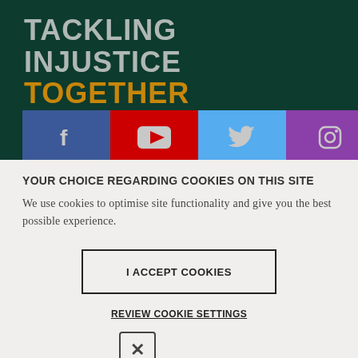TACKLING INJUSTICE TOGETHER
[Figure (infographic): Social media icon bar with Facebook, YouTube, Twitter, and Instagram icons on colored backgrounds (blue, red, light blue, purple)]
YOUR CHOICE REGARDING COOKIES ON THIS SITE
We use cookies to optimise site functionality and give you the best possible experience.
I ACCEPT COOKIES
REVIEW COOKIE SETTINGS